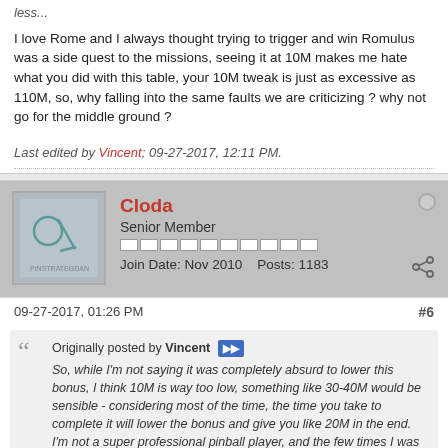less...
I love Rome and I always thought trying to trigger and win Romulus was a side quest to the missions, seeing it at 10M makes me hate what you did with this table, your 10M tweak is just as excessive as 110M, so, why falling into the same faults we are criticizing ? why not go for the middle ground ?
Last edited by Vincent; 09-27-2017, 12:11 PM.
Cloda
Senior Member
Join Date: Nov 2010    Posts: 1183
09-27-2017, 01:26 PM
#6
Originally posted by Vincent
So, while I'm not saying it was completely absurd to lower this bonus, I think 10M is way too low, something like 30-40M would be sensible - considering most of the time, the time you take to complete it will lower the bonus and give you like 20M in the end. I'm not a super professional pinball player, and the few times I was successful at completing Romulus, I got like 90M or less...

I love Rome and I always thought trying to trigger and win Romulus was a side quest to the missions, seeing it at 10M makes me hate...